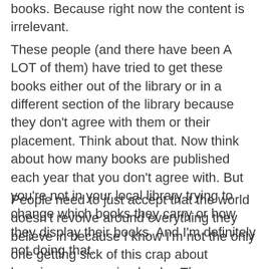books. Because right now the content is irrelevant.
These people (and there have been A LOT of them) have tried to get these books either out of the library or in a different section of the library because they don't agree with them or their placement. Think about that. Now think about how many books are published each year that you don't agree with. But you're not in your local library trying to change which books they carry or how they display their books. And I'm definitely not doing that.
People need to just accept that the world doesn't revolve around everything they believe in because I know I'm not the only one getting sick of this crap about banning or censoring books. There wouldn't be any books in the library if everyone conducted themselves this way.